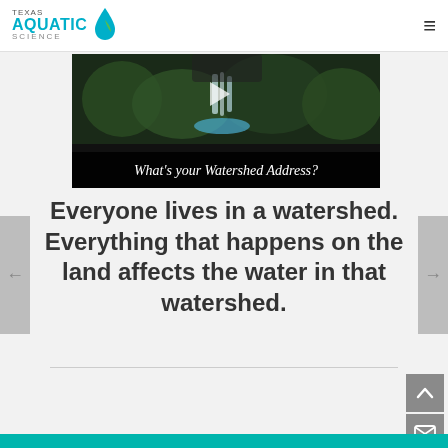Texas Aquatic Science
[Figure (screenshot): Video thumbnail showing a waterfall in a forested scene with text overlay reading 'What's your Watershed Address?']
Everyone lives in a watershed. Everything that happens on the land affects the water in that watershed.